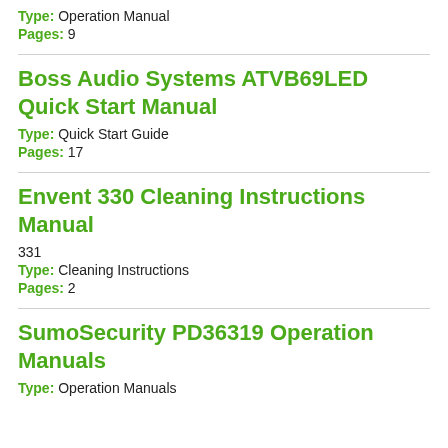Type: Operation Manual
Pages: 9
Boss Audio Systems ATVB69LED Quick Start Manual
Type: Quick Start Guide
Pages: 17
Envent 330 Cleaning Instructions Manual
331
Type: Cleaning Instructions
Pages: 2
SumoSecurity PD36319 Operation Manuals
Type: Operation Manuals